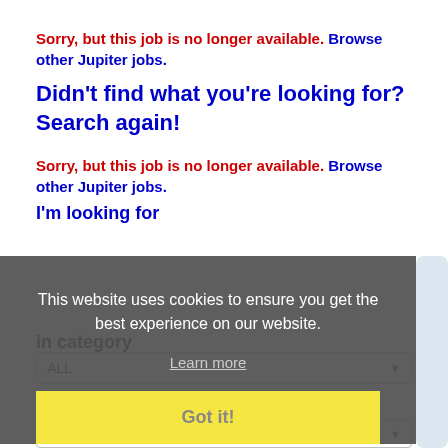Sorry, but this job is no longer available. Browse other Jupiter jobs.
Didn't find what you're looking for? Search again!
Sorry, but this job is no longer available. Browse other Jupiter jobs.
I'm looking for
in category
ALL
within
100 Miles of Jupiter
This website uses cookies to ensure you get the best experience on our website.
Learn more
Got it!